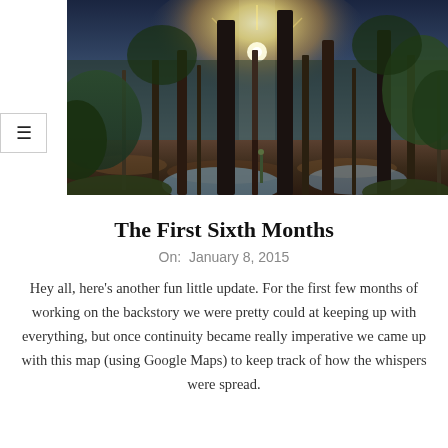[Figure (photo): Outdoor forest scene at sunset/sunrise, sunlight streaming through tall bare trees, with a path and green foliage visible in the background]
The First Sixth Months
On:  January 8, 2015
Hey all, here's another fun little update. For the first few months of working on the backstory we were pretty could at keeping up with everything, but once continuity became really imperative we came up with this map (using Google Maps) to keep track of how the whispers were spread.